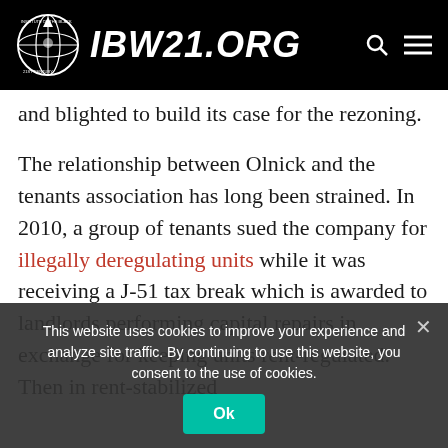IBW21.ORG
and blighted to build its case for the rezoning.
The relationship between Olnick and the tenants association has long been strained. In 2010, a group of tenants sued the company for illegally deregulating units while it was receiving a J-51 tax break which is awarded to landlords performing capital repairs in exchange for keeping units rent-regulated. Then in rent-stabilized
This website uses cookies to improve your experience and analyze site traffic. By continuing to use this website, you consent to the use of cookies.